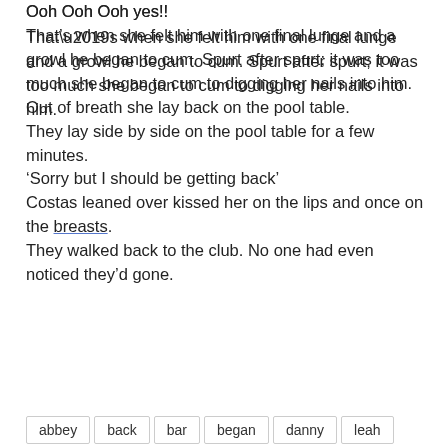Ooh Ooh Ooh yes!!
That’s when she felt him with one final lunge and a growl he began to cum. Spurt after spurt; it was too much she began to cum to digging her nails into him.
Out of breath she lay back on the pool table.
They lay side by side on the pool table for a few minutes.
‘Sorry but I should be getting back’
Costas leaned over kissed her on the lips and once on the breasts.
They walked back to the club. No one had even noticed they’d gone.
abbey
back
bar
began
danny
leah